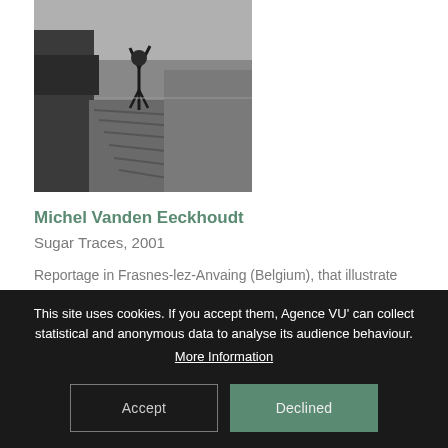[Figure (photo): Black and white photograph of a person with arms raised standing next to a large truck or vehicle in an agricultural field setting.]
Michel Vanden Eeckhoudt
Sugar Traces, 2001
Reportage in Frasnes-lez-Anvaing (Belgium), that illustrate the last sugar campaign of the second millennium.
This site uses cookies. If you accept them, Agence VU' can collect statistical and anonymous data to analyse its audience behaviour. More Information
Accept
Declined